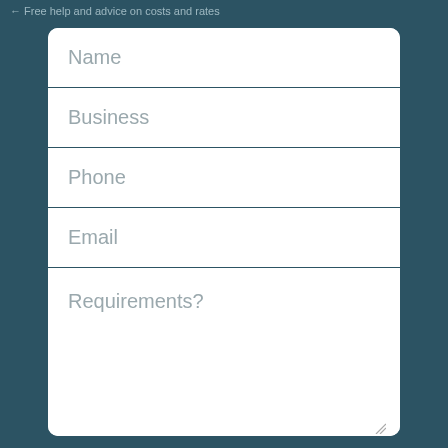Free help and advice on costs and rates
Name
Business
Phone
Email
Requirements?